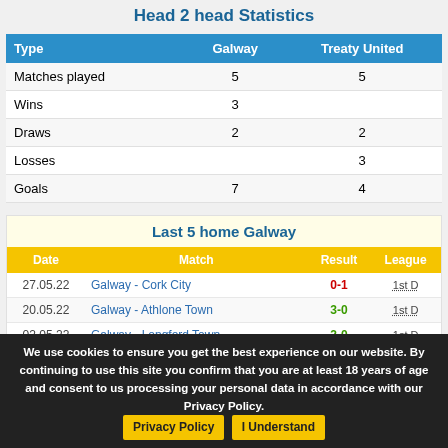Head 2 head Statistics
| Type | Galway | Treaty United |
| --- | --- | --- |
| Matches played | 5 | 5 |
| Wins | 3 |  |
| Draws | 2 | 2 |
| Losses |  | 3 |
| Goals | 7 | 4 |
Last 5 home Galway
| Date | Match | Result | League |
| --- | --- | --- | --- |
| 27.05.22 | Galway - Cork City | 0-1 | 1st D |
| 20.05.22 | Galway - Athlone Town | 3-0 | 1st D |
| 02.05.22 | Galway - Longford Town | 2-0 | 1st D |
| 22.04.22 | Galway - Bray Wanderers | 2-0 | 1st D |
| 09.04.22 | Galway - Wexford | 1-1 | 1st D |
Last 5 away Treaty United
We use cookies to ensure you get the best experience on our website. By continuing to use this site you confirm that you are at least 18 years of age and consent to us processing your personal data in accordance with our Privacy Policy.